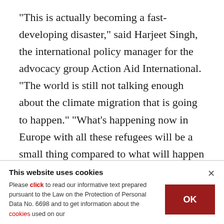"This is actually becoming a fast-developing disaster," said Harjeet Singh, the international policy manager for the advocacy group Action Aid International. "The world is still not talking enough about the climate migration that is going to happen." "What's happening now in Europe with all these refugees will be a small thing compared to what will happen when climate change takes effect," Marshall Islands President Christopher Loeak told The Associated Press in his nation's
This website uses cookies
Please click to read our informative text prepared pursuant to the Law on the Protection of Personal Data No. 6698 and to get information about the cookies used on our